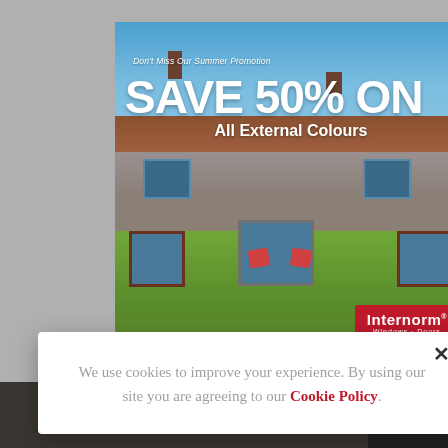[Figure (photo): Promotional advertisement for Internorm windows and doors showing a traditional English stone cottage with casement windows, surrounded by a colorful garden with lavender and flowers. Large text overlay reads 'SAVE 50% ON All External Colours'. Internorm logo and website uk.internorm.com visible.]
We use cookies to improve your experience. By using our site you are agreeing to our Cookie Policy.